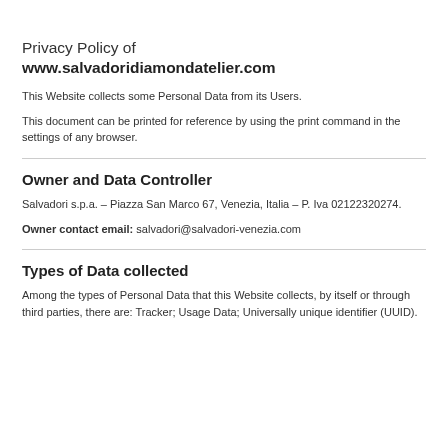Privacy Policy of www.salvadoridiamondatelier.com
This Website collects some Personal Data from its Users.
This document can be printed for reference by using the print command in the settings of any browser.
Owner and Data Controller
Salvadori s.p.a. – Piazza San Marco 67, Venezia, Italia – P. Iva 02122320274.
Owner contact email: salvadori@salvadori-venezia.com
Types of Data collected
Among the types of Personal Data that this Website collects, by itself or through third parties, there are: Tracker; Usage Data; Universally unique identifier (UUID).